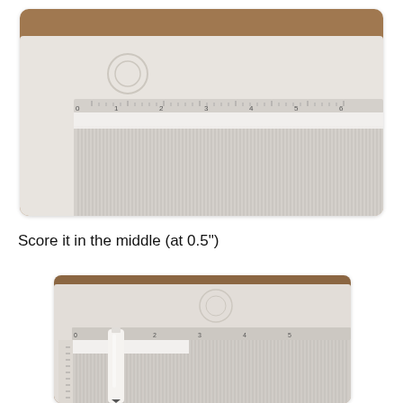[Figure (photo): Close-up photo of a white corrugated cardboard strip placed on a scoring board with ruler markings. The board shows inch measurements (1 through 6+). The corrugated strip is aligned horizontally at the top of the scoring board teeth area.]
Score it in the middle (at 0.5")
[Figure (photo): Close-up photo of a scoring tool (stylus/pen) being used to score a white corrugated strip on a scoring board. The tool is positioned in the middle of the strip, with the scoring board's ruler and teeth visible. The background is a brown wooden surface.]